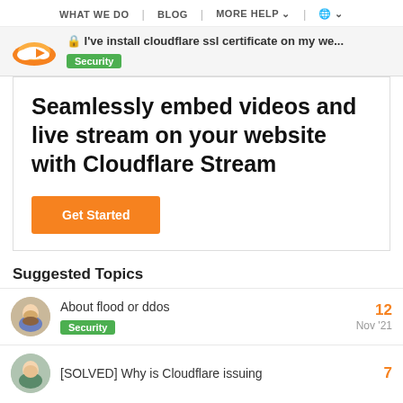WHAT WE DO | BLOG | MORE HELP | (globe icon)
I've install cloudflare ssl certificate on my we...
Security
[Figure (screenshot): Cloudflare Stream advertisement banner with headline and Get Started button]
Suggested Topics
About flood or ddos
Security
12
Nov '21
[SOLVED] Why is Cloudflare issuing